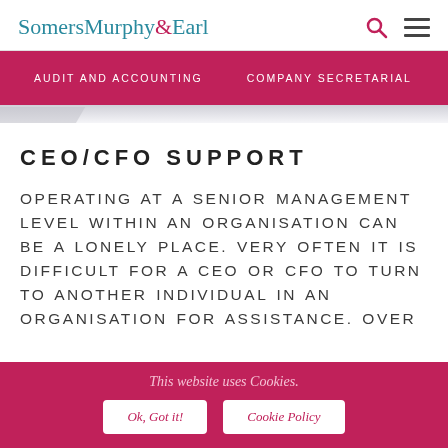SomersMurphy&Earl
AUDIT AND ACCOUNTING   COMPANY SECRETARIAL   TAXA
CEO/CFO SUPPORT
OPERATING AT A SENIOR MANAGEMENT LEVEL WITHIN AN ORGANISATION CAN BE A LONELY PLACE. VERY OFTEN IT IS DIFFICULT FOR A CEO OR CFO TO TURN TO ANOTHER INDIVIDUAL IN AN ORGANISATION FOR ASSISTANCE. OVER
This website uses Cookies. Ok, Got it! Cookie Policy